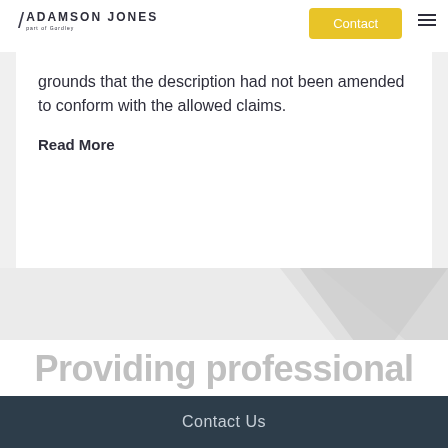ADAMSON JONES / Contact
grounds that the description had not been amended to conform with the allowed claims.
Read More
[Figure (illustration): Gray background section with a large decorative downward-pointing triangle in light gray on the right side]
Providing professional
Contact Us